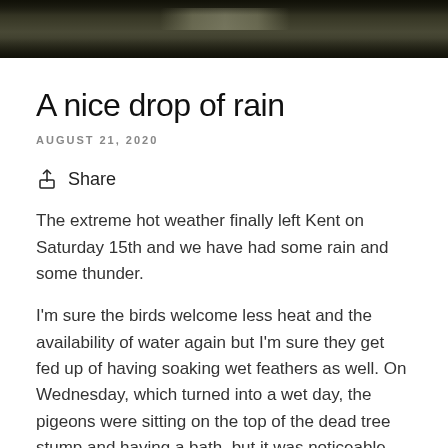[Figure (photo): Aerial or overhead view of a building surrounded by trees and foliage, dark tones]
A nice drop of rain
AUGUST 21, 2020
Share
The extreme hot weather finally left Kent on Saturday 15th and we have had some rain and some thunder.
I'm sure the birds welcome less heat and the availability of water again but I'm sure they get fed up of having soaking wet feathers as well. On Wednesday, which turned into a wet day, the pigeons were sitting on the top of the dead tree stump and having a bath, but it was noticeable that they disappeared about an hour earlier